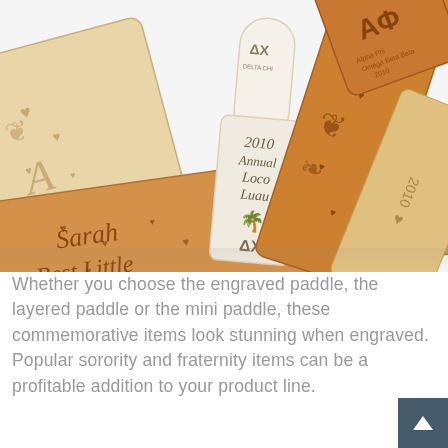[Figure (photo): Multiple wooden fraternity/sorority paddles with engraved designs. One white/cream colored paddle in the center reads '2010 Annual Loco Luau' with a palm tree and 'ΔX' (Delta Chi). Larger wooden paddles show 'Sarah', 'Best Little', '20...' text with heart engravings, and Greek letters. A paddle on the right shows '2010' and another at top right shows 'ΑΦ'. All paddles have decorative engraved designs including hearts and ornamental flourishes.]
Whether you choose the engraved paddle, the layered paddle or the mini paddle, these commemorative items look stunning when engraved. Popular sorority and fraternity items can be a profitable addition to your product line.